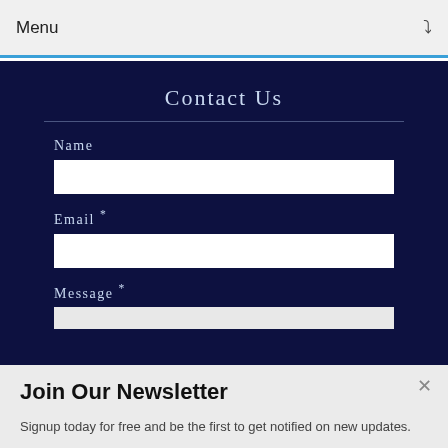Menu
Contact Us
Name
Email *
Message *
Join Our Newsletter
Signup today for free and be the first to get notified on new updates.
Enter your Email
Subscribe Now